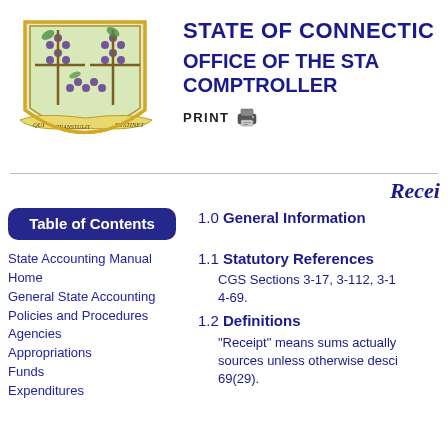[Figure (logo): Connecticut State Seal / coat of arms with grapevines, shield, and banner reading QUI TRANSTULIT SUSTINET]
STATE OF CONNECTICUT
OFFICE OF THE STATE COMPTROLLER
PRINT
Recei
Table of Contents
State Accounting Manual Home
General State Accounting Policies and Procedures
Agencies
Appropriations
Funds
Expenditures
1.0 General Information
1.1 Statutory References
CGS Sections 3-17, 3-112, 3-1 4-69.
1.2 Definitions
"Receipt" means sums actually sources unless otherwise desc 69(29).